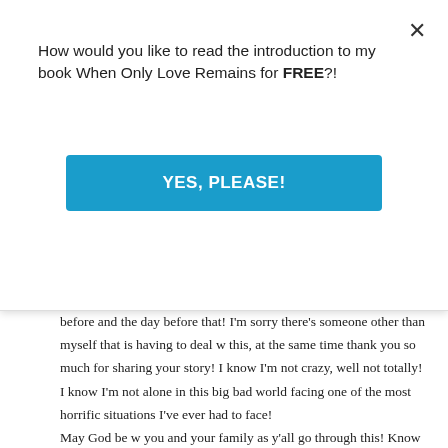How would you like to read the introduction to my book When Only Love Remains for FREE?!
[Figure (other): Blue button with text YES, PLEASE!]
before and the day before that! I'm sorry there's someone other than myself that is having to deal w this, at the same time thank you so much for sharing your story! I know I'm not crazy, well not totally! I know I'm not alone in this big bad world facing one of the most horrific situations I've ever had to face! May God be w you and your family as y'all go through this! Know your not alone, as I know now that I'm not! Your words were wrote perfectly!